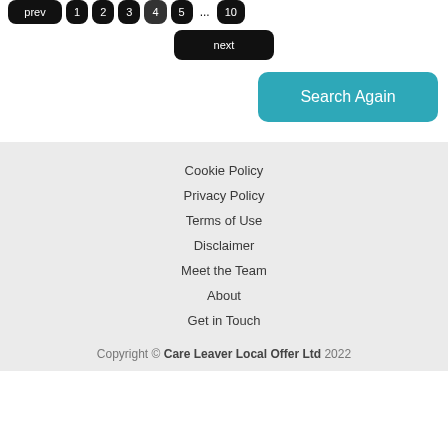[Figure (screenshot): Pagination controls showing prev button, page number buttons (1,2,3,4,5,...,10), and a next button, all in black rounded rectangles]
[Figure (screenshot): Teal/cyan 'Search Again' button in the upper right]
Cookie Policy
Privacy Policy
Terms of Use
Disclaimer
Meet the Team
About
Get in Touch
Copyright © Care Leaver Local Offer Ltd 2022